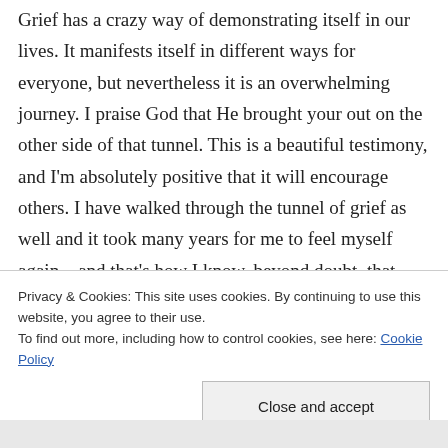Grief has a crazy way of demonstrating itself in our lives. It manifests itself in different ways for everyone, but nevertheless it is an overwhelming journey. I praise God that He brought your out on the other side of that tunnel. This is a beautiful testimony, and I'm absolutely positive that it will encourage others. I have walked through the tunnel of grief as well and it took many years for me to feel myself again…and that's how I know, beyond doubt, that your post will touch hearts and bring hope. God bless you big time! And
Privacy & Cookies: This site uses cookies. By continuing to use this website, you agree to their use.
To find out more, including how to control cookies, see here: Cookie Policy
Close and accept